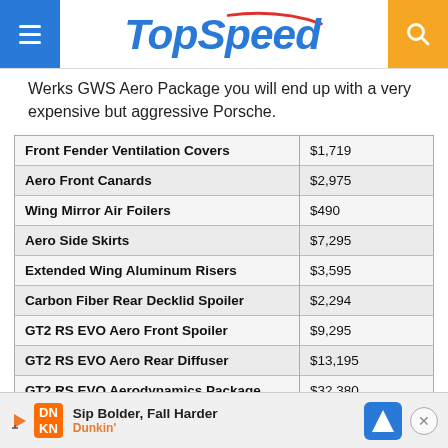TopSpeed
Werks GWS Aero Package you will end up with a very expensive but aggressive Porsche.
| Item | Price |
| --- | --- |
| Front Fender Ventilation Covers | $1,719 |
| Aero Front Canards | $2,975 |
| Wing Mirror Air Foilers | $490 |
| Aero Side Skirts | $7,295 |
| Extended Wing Aluminum Risers | $3,595 |
| Carbon Fiber Rear Decklid Spoiler | $2,294 |
| GT2 RS EVO Aero Front Spoiler | $9,295 |
| GT2 RS EVO Aero Rear Diffuser | $13,195 |
| GT2 RS EVO Aerodynamics Package | $32,380 |
| GT2 RS EVO Rear Decklid Spoiler | $2,595 |